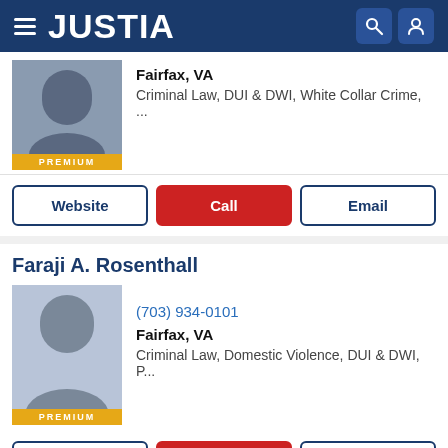JUSTIA
Fairfax, VA
Criminal Law, DUI & DWI, White Collar Crime, ...
Website | Call | Email
Faraji A. Rosenthall
(703) 934-0101
Fairfax, VA
Criminal Law, Domestic Violence, DUI & DWI, P...
Website | Call | Email
Matthew Crowley